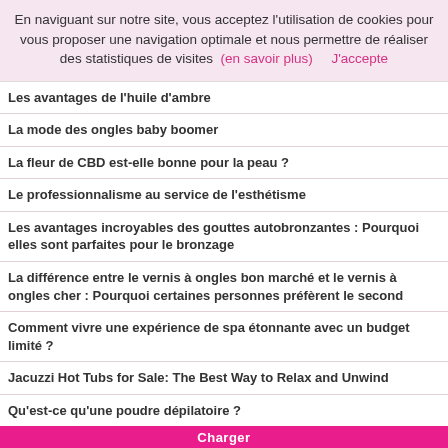En naviguant sur notre site, vous acceptez l'utilisation de cookies pour vous proposer une navigation optimale et nous permettre de réaliser des statistiques de visites  (en savoir plus)     J'accepte
Les avantages de l'huile d'ambre
La mode des ongles baby boomer
La fleur de CBD est-elle bonne pour la peau ?
Le professionnalisme au service de l'esthétisme
Les avantages incroyables des gouttes autobronzantes : Pourquoi elles sont parfaites pour le bronzage
La différence entre le vernis à ongles bon marché et le vernis à ongles cher : Pourquoi certaines personnes préfèrent le second
Comment vivre une expérience de spa étonnante avec un budget limité ?
Jacuzzi Hot Tubs for Sale: The Best Way to Relax and Unwind
Qu'est-ce qu'une poudre dépilatoire ?
Écran solaire biologique et écran solaire inorganique : Laquelle est la meilleure ?
Mieux s'habiller et préparer sa peau pour avoir un style particulier
Charger